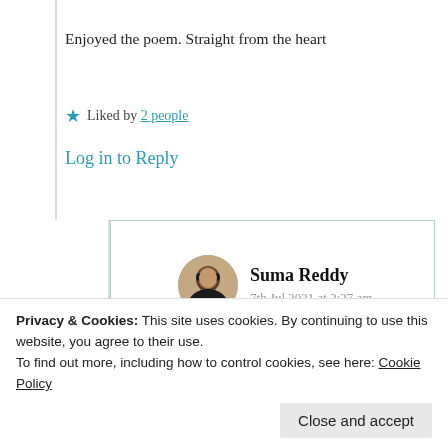Enjoyed the poem. Straight from the heart
★ Liked by 2 people
Log in to Reply
Suma Reddy
7th Jul 2021 at 2:27 am
Yes, my Garden of thoughts and
Privacy & Cookies: This site uses cookies. By continuing to use this website, you agree to their use.
To find out more, including how to control cookies, see here: Cookie Policy
Close and accept
★ Like